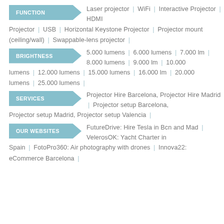FUNCTION: Laser projector | WiFi | Interactive Projector | HDMI
Projector | USB | Horizontal Keystone Projector | Projector mount (ceiling/wall) | Swappable-lens projector |
BRIGHTNESS: 5.000 lumens | 6.000 lumens | 7.000 lm | 8.000 lumens | 9.000 lm | 10.000 lumens | 12.000 lumens | 15.000 lumens | 16.000 lm | 20.000 lumens | 25.000 lumens |
SERVICES: Projector Hire Barcelona, Projector Hire Madrid | Projector setup Barcelona, Projector setup Madrid, Projector setup Valencia |
OUR WEBSITES: FutureDrive: Hire Tesla in Bcn and Mad | VelerosOK: Yacht Charter in Spain | FotoPro360: Air photography with drones | Innova22: eCommerce Barcelona |